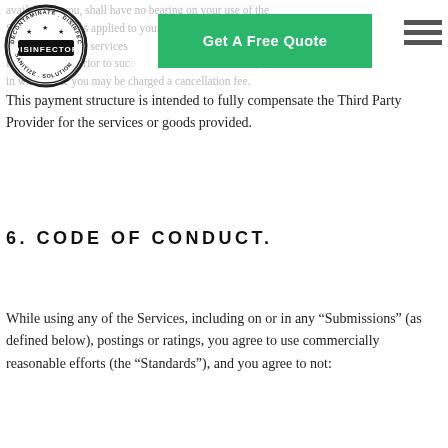available to you, shall have no bearing on your use of the Services. Charges applied to you. You may elect to cancel request for services. Third Party Providers arrival, in which case you may be charged a cancellation fee.
[Figure (logo): Disinfector logo: circular badge with text DECONTAMINATE, DISINFECT, SANITIZE, SOLUTION and stars]
[Figure (other): Green 'Get A Free Quote' call-to-action button]
[Figure (other): Hamburger menu icon (three horizontal lines)]
This payment structure is intended to fully compensate the Third Party Provider for the services or goods provided.
6. CODE OF CONDUCT.
While using any of the Services, including on or in any "Submissions" (as defined below), postings or ratings, you agree to use commercially reasonable efforts (the "Standards"), and you agree to not: